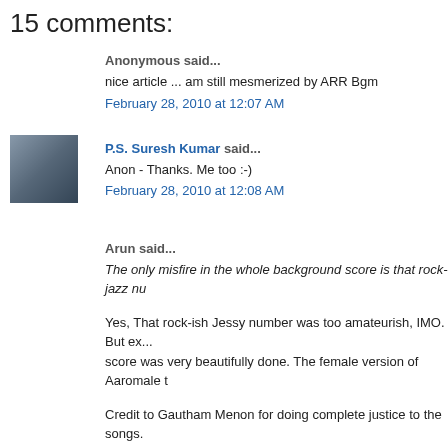15 comments:
Anonymous said...
nice article ... am still mesmerized by ARR Bgm
February 28, 2010 at 12:07 AM
P.S. Suresh Kumar said...
Anon - Thanks. Me too :-)
February 28, 2010 at 12:08 AM
Arun said...
The only misfire in the whole background score is that rock-jazz nu
Yes, That rock-ish Jessy number was too amateurish, IMO. But ex... score was very beautifully done. The female version of Aaromale t
Credit to Gautham Menon for doing complete justice to the songs. absolutely heavenly, quite easily one of the most romantic songs i
February 28, 2010 at 1:20 AM
Unknown said...